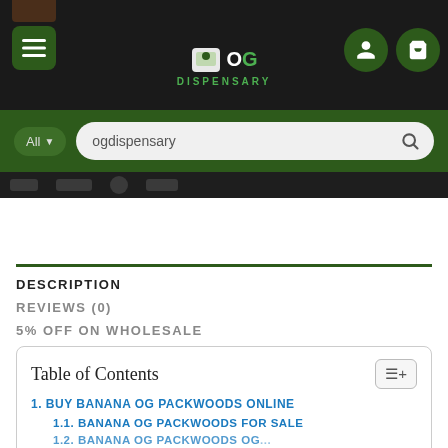[Figure (screenshot): OG Dispensary website header with dark navigation bar showing hamburger menu, OG Dispensary logo, user icon, and cart icon]
[Figure (screenshot): Green search bar with 'All' dropdown and 'ogdispensary' search text with magnifying glass icon]
DESCRIPTION
REVIEWS (0)
5% OFF ON WHOLESALE
Table of Contents
1. BUY BANANA OG PACKWOODS ONLINE
1.1. BANANA OG PACKWOODS FOR SALE
1.2. BANANA OG PACKWOODS OG...